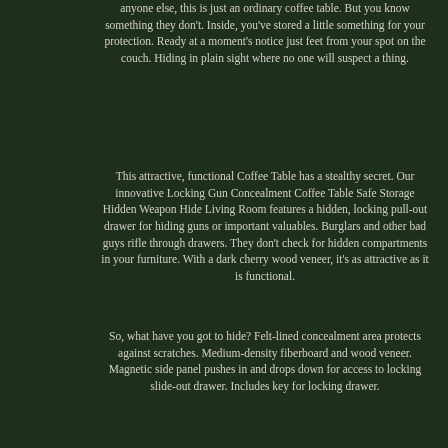anyone else, this is just an ordinary coffee table. But you know something they don't. Inside, you've stored a little something for your protection. Ready at a moment's notice just feet from your spot on the couch. Hiding in plain sight where no one will suspect a thing.
This attractive, functional Coffee Table has a stealthy secret. Our innovative Locking Gun Concealment Coffee Table Safe Storage Hidden Weapon Hide Living Room features a hidden, locking pull-out drawer for hiding guns or important valuables. Burglars and other bad guys rifle through drawers. They don't check for hidden compartments in your furniture. With a dark cherry wood veneer, it's as attractive as it is functional.
So, what have you got to hide? Felt-lined concealment area protects against scratches. Medium-density fiberboard and wood veneer. Magnetic side panel pushes in and drops down for access to locking slide-out drawer. Includes key for locking drawer.